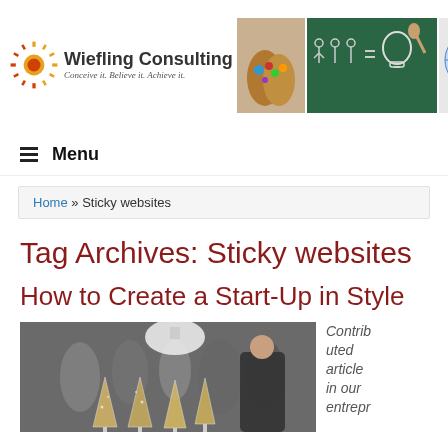[Figure (logo): Wiefling Consulting logo with sunburst star, text 'Wiefling Consulting, Conceive it. Believe it. Achieve it.' and header images of hands, chalkboard, and lightbulb]
Menu
Home » Sticky websites
Tag Archives: Sticky websites
How to Create a Start-Up in Style
[Figure (photo): Business networking event photo with people and champagne glasses in foreground]
Contributed article in our entrepr